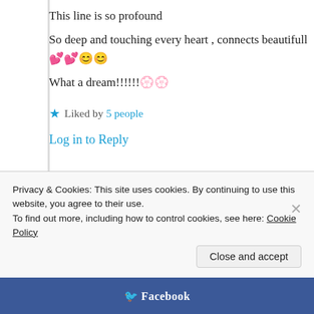This line is so profound
So deep and touching every heart , connects beautifull 💕 💕 😊 😊
What a dream!!!!!! 💐 💐
★ Liked by 5 people
Log in to Reply
Suma Reddy
Privacy & Cookies: This site uses cookies. By continuing to use this website, you agree to their use.
To find out more, including how to control cookies, see here: Cookie Policy
Close and accept